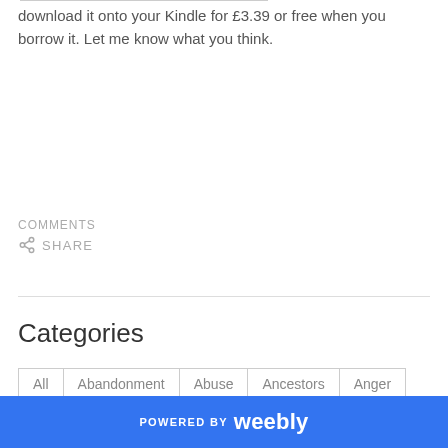download it onto your Kindle for £3.39 or free when you borrow it. Let me know what you think.
COMMENTS
SHARE
Categories
All
Abandonment
Abuse
Ancestors
Anger
POWERED BY weebly